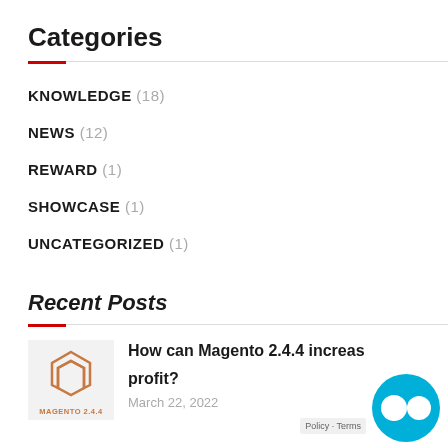Categories
KNOWLEDGE (18)
NEWS (12)
REWARD (1)
SHOWCASE (1)
UNCATEGORIZED (1)
Recent Posts
[Figure (logo): Magento 2.4.4 logo on light gray background]
How can Magento 2.4.4 increase profit?
March 22, 2022